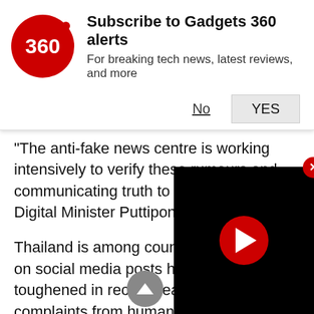[Figure (screenshot): Gadgets 360 subscription notification banner with red circular logo showing '360', title 'Subscribe to Gadgets 360 alerts', subtitle 'For breaking tech news, latest reviews, and more', and buttons 'No' (underlined) and 'YES' (button)]
"The anti-fake news centre is working intensively to verify these rumours and communicating truth to the people," said Digital Minister Puttipong Punnakanta.
Thailand is among countries where laws on social media posts have been toughened in recent years despite complaints from human rights groups that laws could be used to target government critics.
Control
Free-speech advocates are wary that the campaign against coronavirus could help governments extend their control as well as damaging the health campaign.
[Figure (screenshot): Black video player overlay with red circular play button in center, positioned in bottom-right corner]